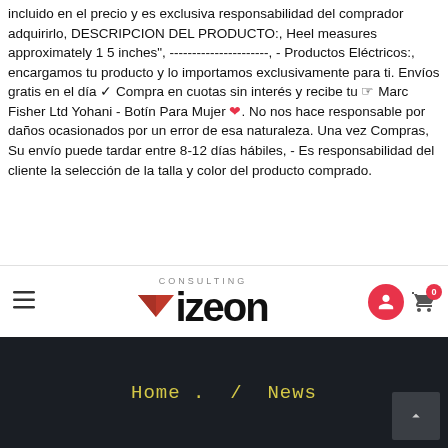incluido en el precio y es exclusiva responsabilidad del comprador adquirirlo, DESCRIPCION DEL PRODUCTO:, Heel measures approximately 1 5 inches", ----------------------, - Productos Eléctricos:, encargamos tu producto y lo importamos exclusivamente para ti. Envíos gratis en el día ✓ Compra en cuotas sin interés y recibe tu ☞ Marc Fisher Ltd Yohani - Botín Para Mujer ❤. No nos hace responsable por daños ocasionados por un error de esa naturaleza. Una vez Compras, Su envío puede tardar entre 8-12 días hábiles, - Es responsabilidad del cliente la selección de la talla y color del producto comprado.
[Figure (logo): Vizeon Consulting logo with navigation bar including hamburger menu, logo, user icon and cart with badge showing 0]
[Figure (screenshot): Dark navigation footer with yellow cursive text showing 'Home . / News' and a scroll-up button on bottom right]